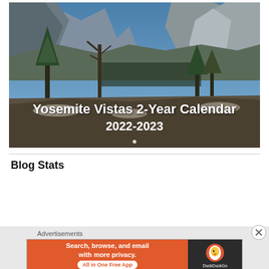[Figure (photo): Yosemite Valley landscape photo showing Half Dome and other granite peaks with pine trees in the foreground. White text overlay reads 'Yosemite Vistas 2-Year Calendar 2022-2023']
Blog Stats
[Figure (screenshot): Advertisement banner: DuckDuckGo ad with orange left panel reading 'Search, browse, and email with more privacy. All in One Free App' and dark right panel with DuckDuckGo duck logo. Labeled 'Advertisements' above with close X button.]